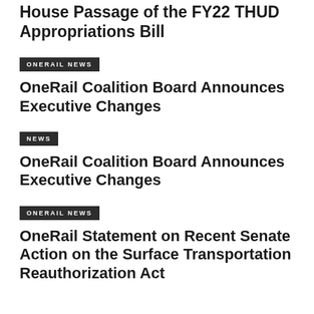House Passage of the FY22 THUD Appropriations Bill
ONERAIL NEWS
OneRail Coalition Board Announces Executive Changes
NEWS
OneRail Coalition Board Announces Executive Changes
ONERAIL NEWS
OneRail Statement on Recent Senate Action on the Surface Transportation Reauthorization Act